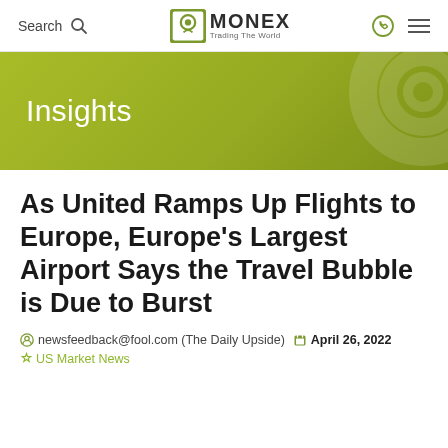Search | MONEX Trading The World
[Figure (logo): MONEX Trading The World logo with green square icon]
Insights
As United Ramps Up Flights to Europe, Europe’s Largest Airport Says the Travel Bubble is Due to Burst
newsfeedback@fool.com (The Daily Upside)
April 26, 2022  US Market News